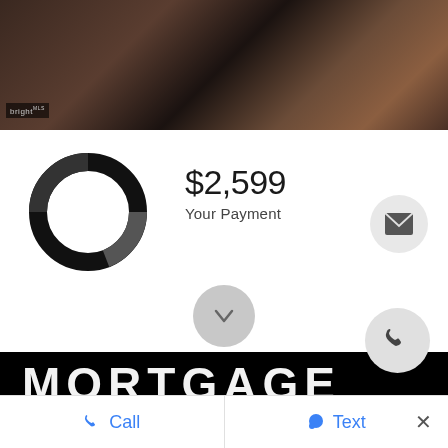[Figure (photo): Dark interior room photo showing wood floors and furniture, with Bright MLS watermark logo in bottom-left corner]
[Figure (donut-chart): Donut/ring chart showing payment breakdown, large black ring with white center]
$2,599
Your Payment
[Figure (illustration): Email/envelope icon button (dark envelope on light gray circular button)]
[Figure (illustration): Down arrow icon on gray circular button]
[Figure (illustration): Phone/call icon on light gray circular button]
MORTGAGE
CALCULATOR
Call
Text